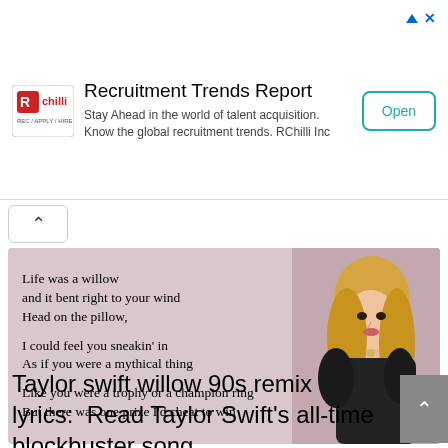[Figure (other): RChilli advertisement banner: Recruitment Trends Report. Stay Ahead in the world of talent acquisition. Know the global recruitment trends. RChilli Inc. Open button on the right.]
[Figure (other): Image card with pinkish-mauve background showing Taylor Swift song lyrics: 'Life was a willow and it bent right to your wind Head on the pillow, I could feel you sneakin' in As if you were a mythical thing Like you were a trophy or a champion ring But there was one prize I'd cheat to win'. Photo of Taylor Swift on the right side.]
Taylor swift willow 90s remix lyrics:  Read Taylor Swift's all-time blockbuster song Willow 90's Remix lyrics. The Willow 90's